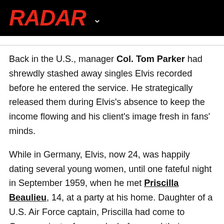RADAR
Back in the U.S., manager Col. Tom Parker had shrewdly stashed away singles Elvis recorded before he entered the service. He strategically released them during Elvis's absence to keep the income flowing and his client's image fresh in fans' minds.
While in Germany, Elvis, now 24, was happily dating several young women, until one fateful night in September 1959, when he met Priscilla Beaulieu, 14, at a party at his home. Daughter of a U.S. Air Force captain, Priscilla had come to Germany just a few weeks before, and their attraction was undeniable.